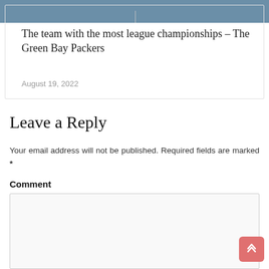[Figure (photo): Top portion of an article card showing a water/lake background image with a vertical divider line in the center]
The team with the most league championships – The Green Bay Packers
August 19, 2022
Leave a Reply
Your email address will not be published. Required fields are marked *
Comment